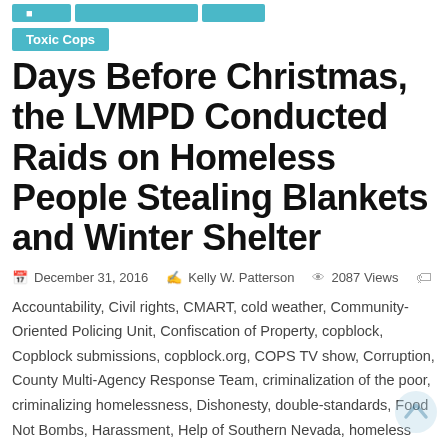Toxic Cops
Days Before Christmas, the LVMPD Conducted Raids on Homeless People Stealing Blankets and Winter Shelter
December 31, 2016   Kelly W. Patterson   2087 Views
Accountability, Civil rights, CMART, cold weather, Community-Oriented Policing Unit, Confiscation of Property, copblock, Copblock submissions, copblock.org, COPS TV show, Corruption, County Multi-Agency Response Team, criminalization of the poor, criminalizing homelessness, Dishonesty, double-standards, Food Not Bombs, Harassment, Help of Southern Nevada, homeless outreach, homelessness, housing instability, housing options, Illegal search/entry, jason nellis, Jazoof, Jonas Rand, kelly patterson, las